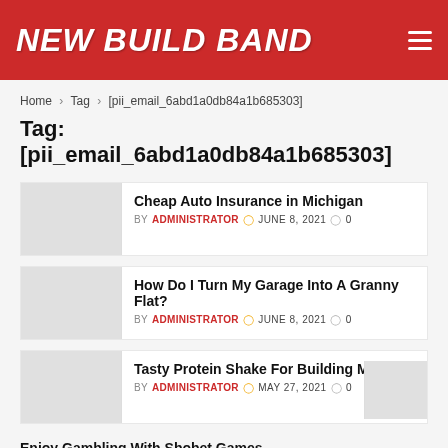NEW BUILD BAND
Home > Tag > [pii_email_6abd1a0db84a1b685303]
Tag: [pii_email_6abd1a0db84a1b685303]
Cheap Auto Insurance in Michigan
BY ADMINISTRATOR  JUNE 8, 2021  0
How Do I Turn My Garage Into A Granny Flat?
BY ADMINISTRATOR  JUNE 8, 2021  0
Tasty Protein Shake For Building Muscles
BY ADMINISTRATOR  MAY 27, 2021  0
Enjoy Gambling With Sbobet Games